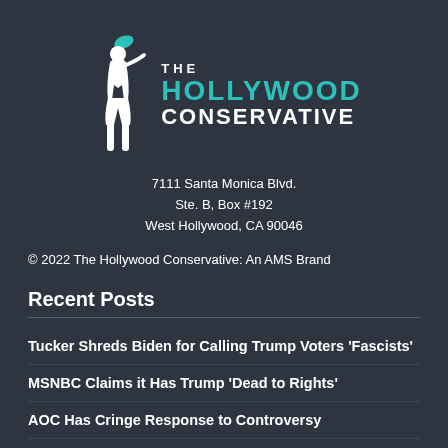[Figure (logo): The Hollywood Conservative logo: white female silhouette with megaphone, text 'THE HOLLYWOOD CONSERVATIVE' in teal and white]
7111 Santa Monica Blvd.
Ste. B, Box #192
West Hollywood, CA 90046
© 2022 The Hollywood Conservative: An AMS Brand
Recent Posts
Tucker Shreds Biden for Calling Trump Voters 'Fascists'
MSNBC Claims it Has Trump 'Dead to Rights'
AOC Has Cringe Response to Controversy